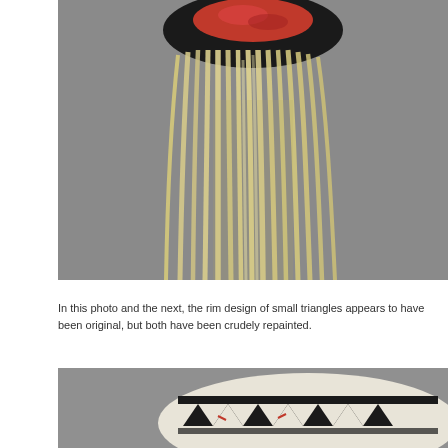[Figure (photo): Close-up photograph of a ceremonial mask or artifact showing a dark circular rim with red pigment decoration and long flowing blond/white hair or fiber strands hanging down against a gray background.]
In this photo and the next, the rim design of small triangles appears to have been original, but both have been crudely repainted.
[Figure (photo): Photograph of a ceramic vessel or pottery bowl with black and white geometric design including triangles and angular patterns, with some red accents, shown against a gray background.]